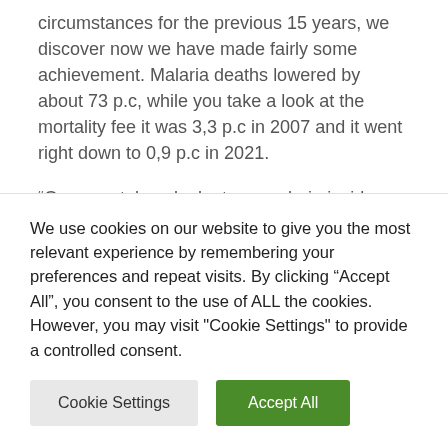circumstances for the previous 15 years, we discover now we have made fairly some achievement. Malaria deaths lowered by about 73 p.c, while you take a look at the mortality fee it was 3,3 p.c in 2007 and it went right down to 0,9 p.c in 2021.

“Once we take a look at our malaria incidence it additionally went down by 91 p.c between 2007 and 2021. Though we had some Covid-19 points in 2020 the place we noticed our malaria
We use cookies on our website to give you the most relevant experience by remembering your preferences and repeat visits. By clicking “Accept All”, you consent to the use of ALL the cookies. However, you may visit "Cookie Settings" to provide a controlled consent.